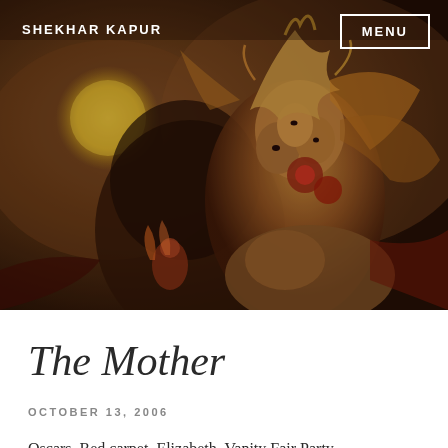[Figure (illustration): A dark fantasy illustration of a multi-faced goddess figure with elaborate headdress, golden and red ornamental details, sitting atop a lion. A large yellow orb (moon or sun) is visible in the upper left background. The palette is deep browns, golds, and reds.]
SHEKHAR KAPUR
MENU
The Mother
OCTOBER 13, 2006
Oscars. Red carpet. Elizabeth. Vanity Fair Party,